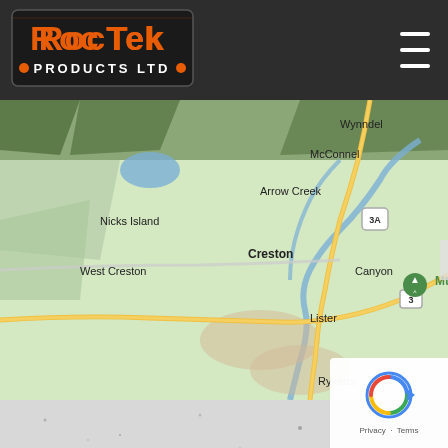[Figure (logo): RocTek Products Ltd logo - orange and black text with decorative border]
[Figure (map): Google Maps view of Creston, BC area showing Wynndel, McConnel, Arrow Creek, Nicks Island, Creston, West Creston, Canyon, Mt Thompson, Lister, Rykerts locations with roads and terrain]
[Figure (photo): Textured concrete or rock surface - grey with dark speckles]
[Figure (other): reCAPTCHA Privacy Terms badge in bottom right corner]